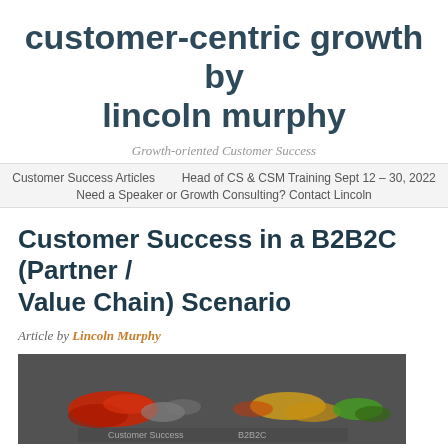customer-centric growth by lincoln murphy
Growth-oriented Customer Success
Customer Success Articles   Head of CS & CSM Training Sept 12 – 30, 2022   Need a Speaker or Growth Consulting? Contact Lincoln
Customer Success in a B2B2C (Partner / Value Chain) Scenario
Article by Lincoln Murphy
[Figure (photo): Featured article image showing colorful chalk drawing on dark background with text partially visible at the bottom]